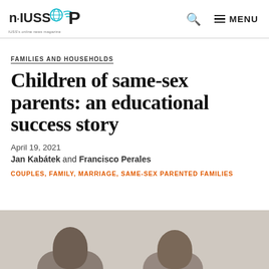n-IUSS P — IUSS's online news magazine | Search | MENU
FAMILIES AND HOUSEHOLDS
Children of same-sex parents: an educational success story
April 19, 2021
Jan Kabátek and Francisco Perales
COUPLES, FAMILY, MARRIAGE, SAME-SEX PARENTED FAMILIES
[Figure (photo): Photo of two people (authors or subjects), partial view showing heads and shoulders against a light background]